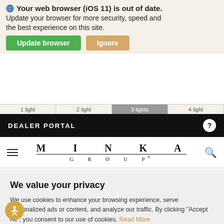Your web browser (iOS 11) is out of date. Update your browser for more security, speed and the best experience on this site.
Update browser | Ignore
DEALER PORTAL
[Figure (logo): MINKA GROUP logo with letterspaced serif text]
Product Specifications
We value your privacy
We use cookies to enhance your browsing experience, serve personalized ads or content, and analyze our traffic. By clicking "Accept All", you consent to our use of cookies. Read More
Customize | Reject All | Accept All